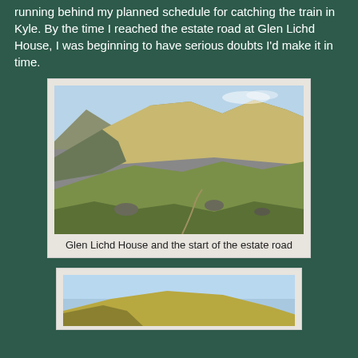running behind my planned schedule for catching the train in Kyle. By the time I reached the estate road at Glen Lichd House, I was beginning to have serious doubts I'd make it in time.
[Figure (photo): Mountain landscape with green and rocky slopes, showing a highland glen with a path visible in the foreground.]
Glen Lichd House and the start of the estate road
[Figure (photo): Partial view of another mountain landscape with blue sky, showing steep hillside.]